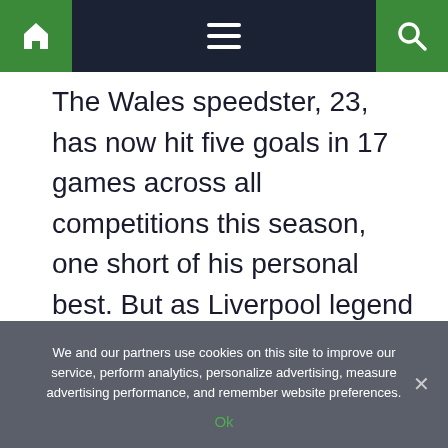[Navigation bar with home icon, menu icon, and search icon]
The Wales speedster, 23, has now hit five goals in 17 games across all competitions this season, one short of his personal best. But as Liverpool legend Alan Hansen almost told BBC'S Match of the Day in 1995: "You can't celebrate anything like kids."
We and our partners use cookies on this site to improve our service, perform analytics, personalize advertising, measure advertising performance, and remember website preferences.
Ok